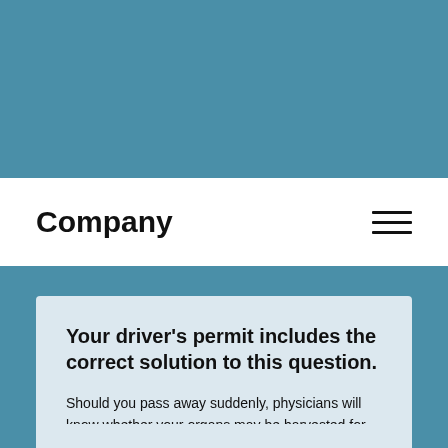Company
Your driver's permit includes the correct solution to this question.
Should you pass away suddenly, physicians will know whether your organs may be harvested for transplant by searching for the universal organ donor emblem displayed in your driver's license.